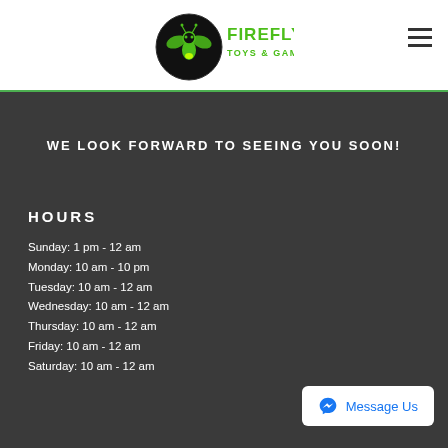[Figure (logo): Firefly Toys & Games logo — circular black badge with firefly insect graphic and green text]
WE LOOK FORWARD TO SEEING YOU SOON!
HOURS
Sunday: 1 pm - 12 am
Monday: 10 am - 10 pm
Tuesday: 10 am - 12 am
Wednesday: 10 am - 12 am
Thursday: 10 am - 12 am
Friday: 10 am - 12 am
Saturday: 10 am - 12 am